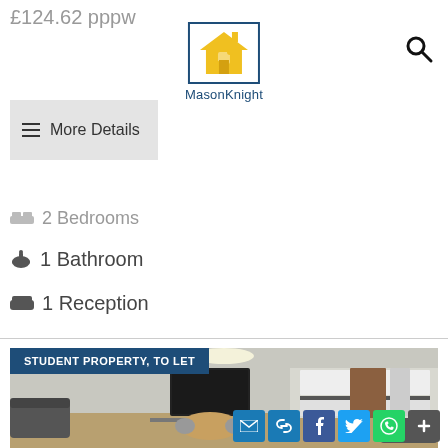£124.62 pppw
[Figure (logo): MasonKnight logo — yellow house puzzle piece icon inside a blue border, with MasonKnight text below]
[Figure (infographic): Search (magnifying glass) icon]
More Details
2 Bedrooms
1 Bathroom
1 Reception
STUDENT PROPERTY, TO LET
[Figure (photo): Interior photo of a student property living room and open-plan kitchen with leather sofas, wall-mounted TV, dining table, and white kitchen units]